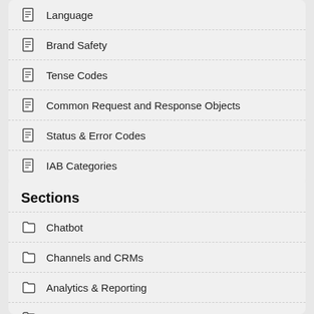Language
Brand Safety
Tense Codes
Common Request and Response Objects
Status & Error Codes
IAB Categories
Sections
Chatbot
Channels and CRMs
Analytics & Reporting
LiveChat